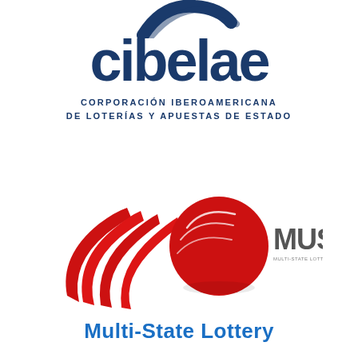[Figure (logo): CIBELAE logo: arc/swoosh shape above the word 'cibelae' in dark navy blue bold text, with subtitle 'CORPORACIÓN IBEROAMERICANA DE LOTERÍAS Y APUESTAS DE ESTADO' in spaced dark blue caps]
[Figure (logo): MUSL (Multi-State Lottery) logo: red swooshing ribbon shapes alongside a red sphere with white line details, and 'MUSL' text in dark grey with small tagline beneath]
Multi-State Lottery